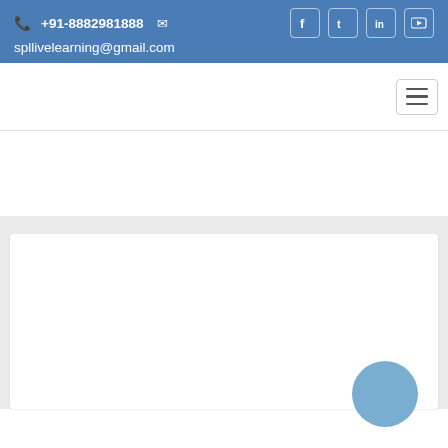+91-8882981888  spllivelearning@gmail.com
[Figure (screenshot): Navigation bar with hamburger menu button on the right]
[Figure (screenshot): White section below nav bar]
[Figure (screenshot): Gray background section with white card and blue circle element]